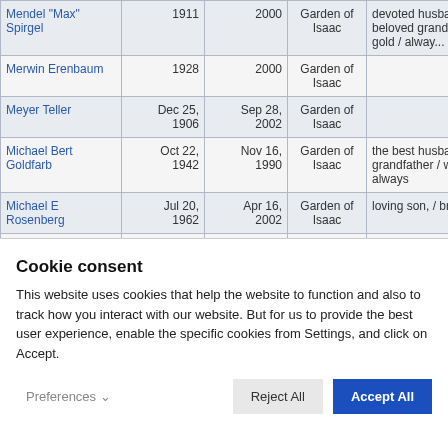| Name | Birth | Death | Location | Note |
| --- | --- | --- | --- | --- |
| Mendel "Max" Spirgel | 1911 | 2000 | Garden of Isaac | devoted husband & father / beloved grandfather / a heart of gold / alway... |
| Merwin Erenbaum | 1928 | 2000 | Garden of Isaac |  |
| Meyer Teller | Dec 25, 1906 | Sep 28, 2002 | Garden of Isaac |  |
| Michael Bert Goldfarb | Oct 22, 1942 | Nov 16, 1990 | Garden of Isaac | the best husband / father and grandfather / we will love you always |
| Michael E Rosenberg | Jul 20, 1962 | Apr 16, 2002 | Garden of Isaac | loving son, / brother & uncle |
| Michael B Scheft | 1951 | 2005 | Garden of Isaac | in loving memory |
| Michael H Shea | Aug 14, 1969 | Aug 7, 1991 | Garden of Isaac | Beloved Son, Brother and Grandson Forever In Our Hearts |
Cookie consent
This website uses cookies that help the website to function and also to track how you interact with our website. But for us to provide the best user experience, enable the specific cookies from Settings, and click on Accept.